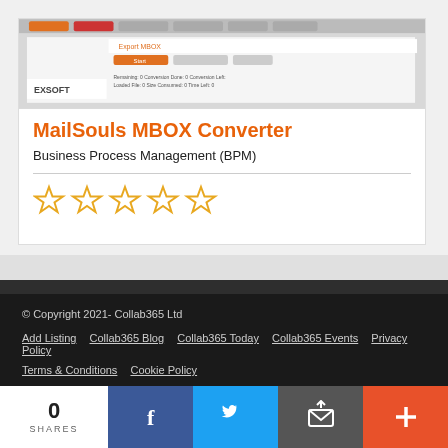[Figure (screenshot): Screenshot of MailSouls MBOX Converter software interface showing Export MBOX dialog with progress bars and statistics]
MailSouls MBOX Converter
Business Process Management (BPM)
[Figure (other): Five empty star rating icons in orange/yellow color]
© Copyright 2021- Collab365 Ltd
Add Listing  Collab365 Blog  Collab365 Today  Collab365 Events  Privacy Policy
Terms & Conditions  Cookie Policy
0
SHARES